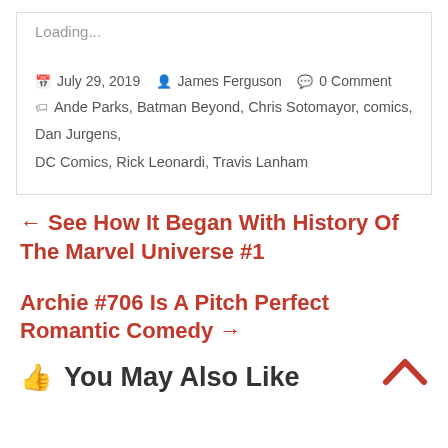Loading...
July 29, 2019   James Ferguson   0 Comment   Ande Parks, Batman Beyond, Chris Sotomayor, comics, Dan Jurgens, DC Comics, Rick Leonardi, Travis Lanham
← See How It Began With History Of The Marvel Universe #1
Archie #706 Is A Pitch Perfect Romantic Comedy →
👍 You May Also Like